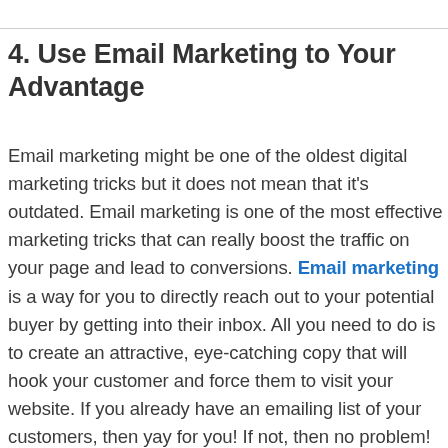4. Use Email Marketing to Your Advantage
Email marketing might be one of the oldest digital marketing tricks but it does not mean that it’s outdated. Email marketing is one of the most effective marketing tricks that can really boost the traffic on your page and lead to conversions. Email marketing is a way for you to directly reach out to your potential buyer by getting into their inbox. All you need to do is to create an attractive, eye-catching copy that will hook your customer and force them to visit your website. If you already have an emailing list of your customers, then yay for you! If not, then no problem! You can run a paid ad for your target